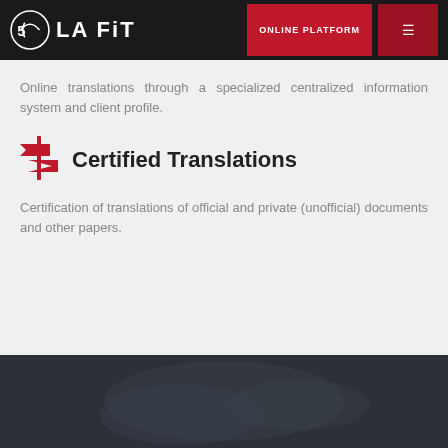[Figure (logo): OLA FIT logo with circular icon on dark header bar, alongside ONLINE PLATFORM button and hamburger menu button]
Online translations through a specialized centralized information system and client profile.
Certified Translations
Certification of translations of official and private (unofficial) documents and other papers.
[Figure (photo): Dark blurred background section at bottom of page, partially cut off text beginning visible]